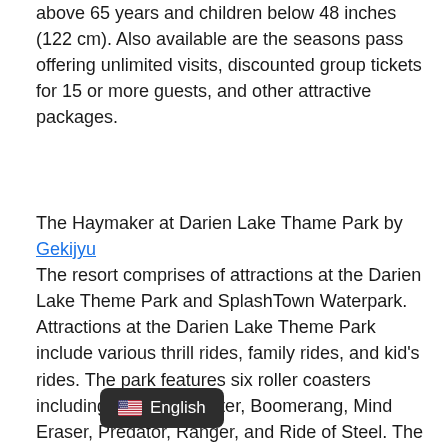above 65 years and children below 48 inches (122 cm). Also available are the seasons pass offering unlimited visits, discounted group tickets for 15 or more guests, and other attractive packages.
The Haymaker at Darien Lake Thame Park by Gekijyu
The resort comprises of attractions at the Darien Lake Theme Park and SplashTown Waterpark. Attractions at the Darien Lake Theme Park include various thrill rides, family rides, and kid's rides. The park features six roller coasters including the Motocoaster, Boomerang, Mind Eraser, Predator, Ranger, and Ride of Steel. The SplashTown Waterpark features three water rides i.e. the Grizzly Run, Shipwreck Falls, and Thunder Rapids. The resort also organizes regular free concerts at the Laser Stage.
[Figure (screenshot): UI button showing a US flag emoji and the text 'English' on a dark rounded rectangle background]